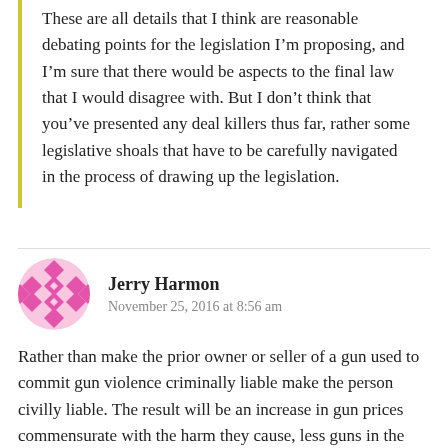These are all details that I think are reasonable debating points for the legislation I'm proposing, and I'm sure that there would be aspects to the final law that I would disagree with. But I don't think that you've presented any deal killers thus far, rather some legislative shoals that have to be carefully navigated in the process of drawing up the legislation.
Jerry Harmon
November 25, 2016 at 8:56 am
Rather than make the prior owner or seller of a gun used to commit gun violence criminally liable make the person civilly liable. The result will be an increase in gun prices commensurate with the harm they cause, less guns in the marketplace, and more responsible owners and sellers of guns. Victims and their attorneys would enforce the law. Victims would be compensated unlike the current situation.